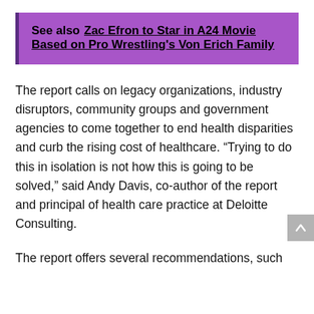See also  Zac Efron to Star in A24 Movie Based on Pro Wrestling's Von Erich Family
The report calls on legacy organizations, industry disruptors, community groups and government agencies to come together to end health disparities and curb the rising cost of healthcare. “Trying to do this in isolation is not how this is going to be solved,” said Andy Davis, co-author of the report and principal of health care practice at Deloitte Consulting.
The report offers several recommendations, such